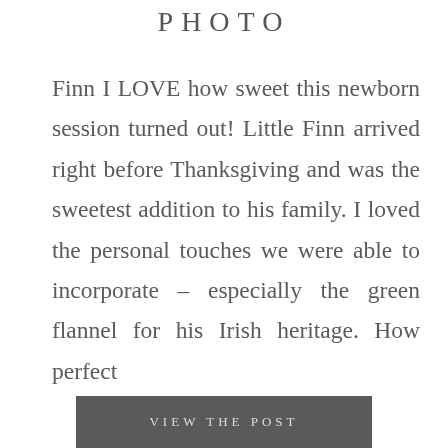PHOTO
Finn I LOVE how sweet this newborn session turned out! Little Finn arrived right before Thanksgiving and was the sweetest addition to his family. I loved the personal touches we were able to incorporate – especially the green flannel for his Irish heritage. How perfect
VIEW THE POST